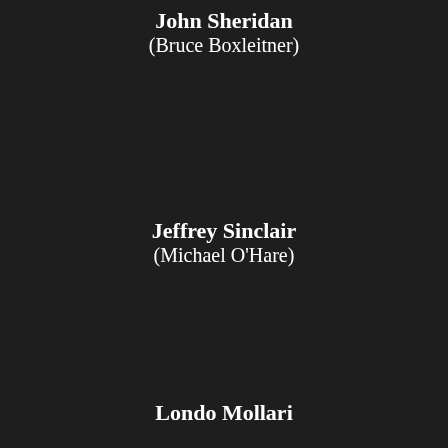John Sheridan
(Bruce Boxleitner)
Jeffrey Sinclair
(Michael O'Hare)
Londo Mollari